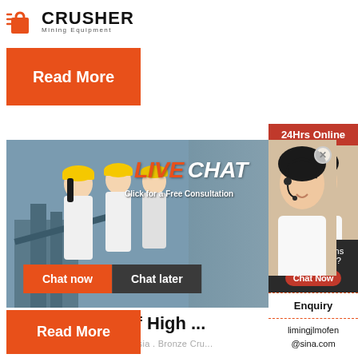[Figure (logo): Crusher Mining Equipment logo with shopping bag icon and bold CRUSHER text]
[Figure (infographic): Orange Read More button]
[Figure (infographic): Live Chat widget showing workers in hard hats, LIVE CHAT heading, Click for a Free Consultation, Chat now and Chat later buttons]
Manufacturer Of High ...
Bronze Crusher Bearings Malaysia . Bronze Cru...
[Figure (infographic): Orange Read More button at bottom]
[Figure (infographic): Right sidebar with 24Hrs Online banner, operator photo, Need questions & suggestion? section with Chat Now button, Enquiry section, and limingjlmofen@sina.com email]